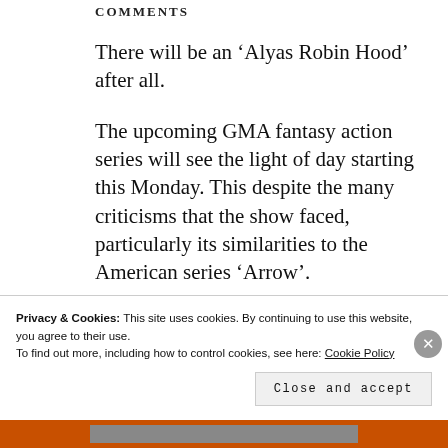COMMENTS
There will be an ‘Alyas Robin Hood’ after all.
The upcoming GMA fantasy action series will see the light of day starting this Monday. This despite the many criticisms that the show faced, particularly its similarities to the American series ‘Arrow’.
But for ‘Alyas Robin Hood’ lead...
Privacy & Cookies: This site uses cookies. By continuing to use this website, you agree to their use.
To find out more, including how to control cookies, see here: Cookie Policy